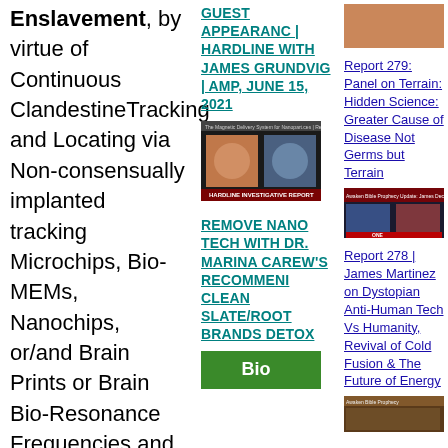Enslavement, by virtue of Continuous ClandestineTracking and Locating via Non-consensually implanted tracking Microchips, Bio-MEMs, Nanochips, or/and Brain Prints or Brain Bio-Resonance Frequencies,and GPS/GIS tracking satellites; Continuous "Electronic
GUEST APPEARANC | HARDLINE WITH JAMES GRUNDVIG | AMP, JUNE 15, 2021
[Figure (screenshot): Screenshot of a video thumbnail showing two people with text 'HARDLINE INVESTIGATIVE REPORT']
REMOVE NANO TECH WITH DR. MARINA CAREW'S RECOMMENI CLEAN SLATE/ROOT BRANDS DETOX
[Figure (photo): Green thumbnail image (partial, bottom)]
Report 279: Panel on Terrain: Hidden Science: Greater Cause of Disease Not Germs but Terrain
[Figure (screenshot): Screenshot thumbnail showing multiple people with text overlay]
Report 278 | James Martinez on Dystopian Anti-Human Tech Vs Humanity, Revival of Cold Fusion & The Future of Energy
[Figure (screenshot): Screenshot thumbnail (partial, bottom)]